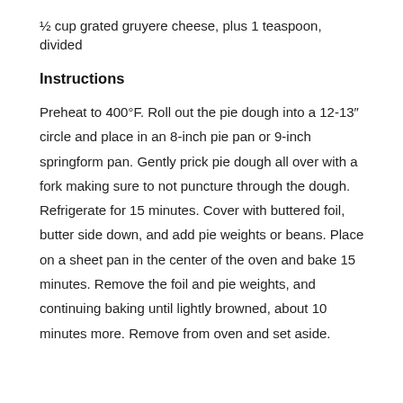½ cup grated gruyere cheese, plus 1 teaspoon, divided
Instructions
Preheat to 400°F. Roll out the pie dough into a 12-13″ circle and place in an 8-inch pie pan or 9-inch springform pan. Gently prick pie dough all over with a fork making sure to not puncture through the dough. Refrigerate for 15 minutes. Cover with buttered foil, butter side down, and add pie weights or beans. Place on a sheet pan in the center of the oven and bake 15 minutes. Remove the foil and pie weights, and continuing baking until lightly browned, about 10 minutes more. Remove from oven and set aside.